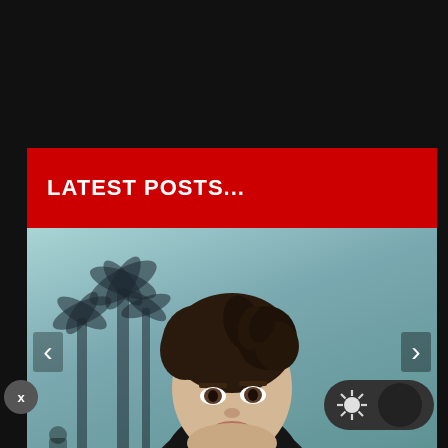LATEST POSTS...
[Figure (photo): A young man with dark messy hair wearing a dark jacket, photographed against a light teal/blue-grey wall with palm tree shadows. Navigation arrows visible on left and right sides of the image.]